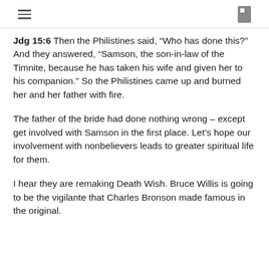[hamburger menu icon] [book icon]
Jdg 15:6  Then the Philistines said, “Who has done this?” And they answered, “Samson, the son-in-law of the Timnite, because he has taken his wife and given her to his companion.” So the Philistines came up and burned her and her father with fire.
The father of the bride had done nothing wrong – except get involved with Samson in the first place. Let’s hope our involvement with nonbelievers leads to greater spiritual life for them.
I hear they are remaking Death Wish. Bruce Willis is going to be the vigilante that Charles Bronson made famous in the original.